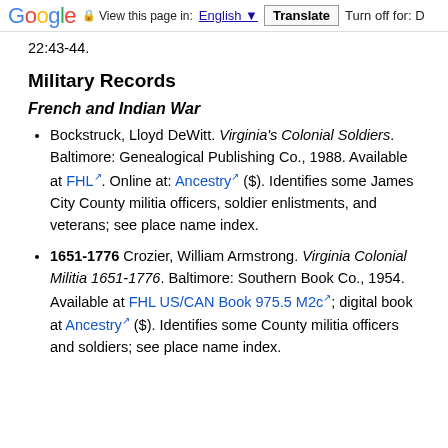Google  View this page in: English  Translate  Turn off for: D
22:43-44.
Military Records
French and Indian War
Bockstruck, Lloyd DeWitt. Virginia's Colonial Soldiers. Baltimore: Genealogical Publishing Co., 1988. Available at FHL. Online at: Ancestry ($). Identifies some James City County militia officers, soldier enlistments, and veterans; see place name index.
1651-1776 Crozier, William Armstrong. Virginia Colonial Militia 1651-1776. Baltimore: Southern Book Co., 1954. Available at FHL US/CAN Book 975.5 M2c; digital book at Ancestry ($). Identifies some County militia officers and soldiers; see place name index.